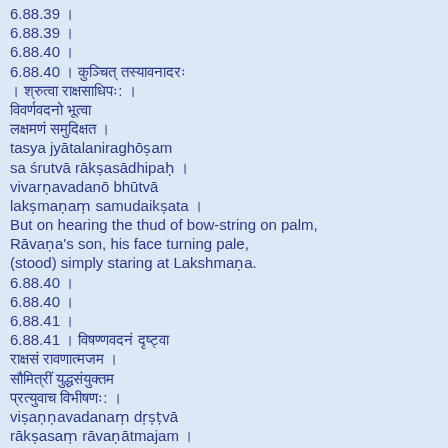6.88.39 ।
6.88.39 ।
6.88.40 ।
6.88.40 । [Sanskrit text]
[Sanskrit text]
[Sanskrit text]
[Sanskrit text]
tasya jyātalaniraghōṣam
sa śrutvā rākṣasādhipaḥ ।
vivarṇavadanō bhūtvā
lakṣmaṇaṃ samudaikṣata ।
But on hearing the thud of bow-string on palm,
Rāvaṇa's son, his face turning pale,
(stood) simply staring at Lakshmaṇa.
6.88.40 ।
6.88.40 ।
6.88.41 ।
6.88.41 । [Sanskrit text]
[Sanskrit text]
[Sanskrit text]
[Sanskrit text]
viṣaṇṇavadanaṃ dṛṣṭvā
rākṣasaṃ rāvaṇātmajam ।
saumitrīṃ yuddhasaṃyuktam
pratyuvāca vibhīṣaṇaḥ ।
Seeing that Rākshasa, the son of Rāvaṇa,